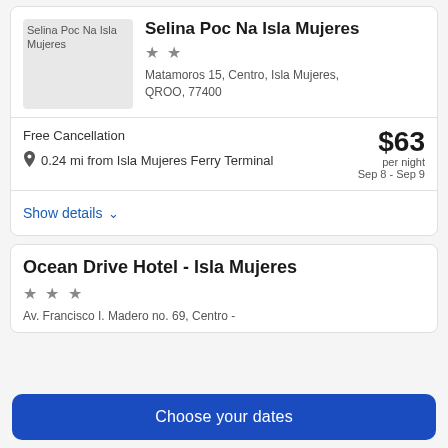[Figure (photo): Thumbnail image placeholder for Selina Poc Na Isla Mujeres hotel]
Selina Poc Na Isla Mujeres
★★
Matamoros 15, Centro, Isla Mujeres, QROO, 77400
Free Cancellation
0.24 mi from Isla Mujeres Ferry Terminal
$63 per night Sep 8 - Sep 9
Show details ∨
Ocean Drive Hotel - Isla Mujeres
★★★
Av. Francisco I. Madero no. 69, Centro -
Choose your dates